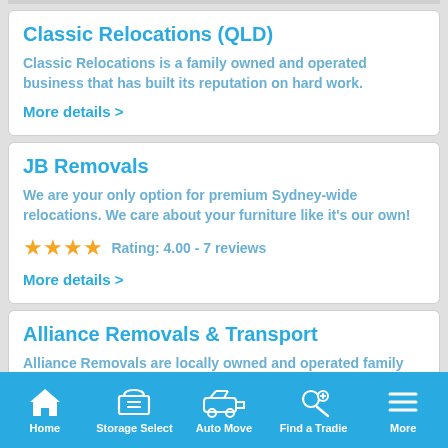Classic Relocations (QLD)
Classic Relocations is a family owned and operated business that has built its reputation on hard work.
More details >
JB Removals
We are your only option for premium Sydney-wide relocations. We care about your furniture like it’s our own!
Rating: 4.00 - 7 reviews
More details >
Alliance Removals & Transport
Alliance Removals are locally owned and operated family
Home  Storage Select  Auto Move  Find a Tradie  More